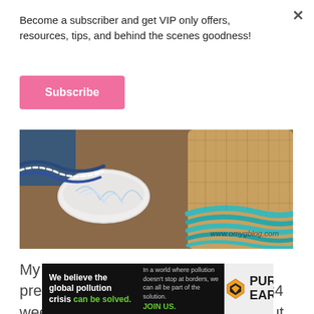Become a subscriber and get VIP only offers, resources, tips, and behind the scenes goodness!
Subscribe
[Figure (photo): Photo of craft supplies including yarn/tassel fringe in a white dish, blue and white rope, and a woven basket with teal/turquoise trim. Watermark: www.omygblog.com]
My sister is 9.5 weeks behind me in pregnancy, so yesterday she hit the 34 week mark. We're looking at just about a month and a half until
[Figure (other): Advertisement banner: We believe the global pollution crisis can be solved. In a world where pollution doesn't stop at borders, we can all be part of the solution. JOIN US. PURE EARTH logo.]